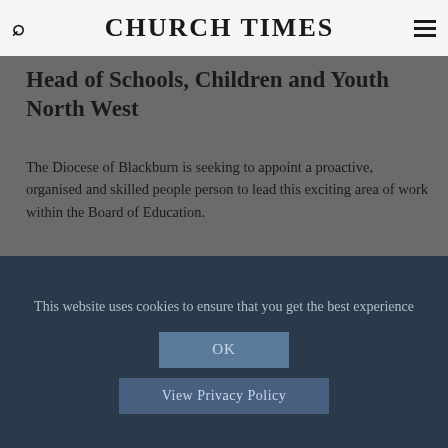CHURCH TIMES
Head of Schools, Children and Youth North West
The Diocese of Blackburn is seeking to appoint a proactive, organised and skilled people person to lead this exciting area of work within the Board of Education.
Find more jobs
THE CHURCH TIMES ARCHIVE
This website uses cookies to ensure that you get the best experience
OK
View Privacy Policy